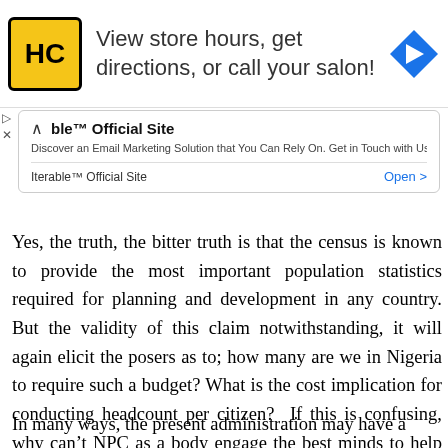[Figure (other): Advertisement banner for Hair Club (HC) salon: yellow square logo with HC, text 'View store hours, get directions, or call your salon!' and a blue navigation arrow icon]
[Figure (other): Second advertisement box for Iterable Official Site: 'Discover an Email Marketing Solution that You Can Rely On. Get in Touch with Us Now' with Open button]
Yes, the truth, the bitter truth is that the census is known to provide the most important population statistics required for planning and development in any country. But the validity of this claim notwithstanding, it will again elicit the posers as to; how many are we in Nigeria to require such a budget? What is the cost implication for conducting headcount per citizen? If this is confusing, why can't NPC as a body engage the best minds to help get the answers and deploy the resources we need to move into the future?
In many ways, the present administration may have a